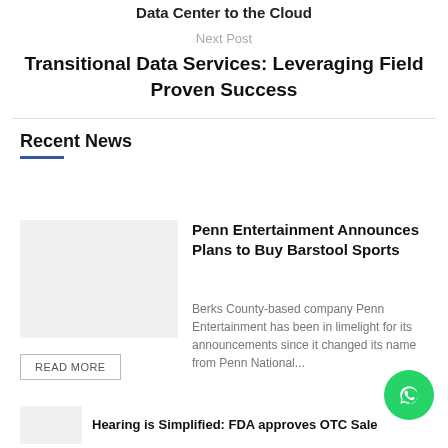Data Center to the Cloud
Next Post
Transitional Data Services: Leveraging Field Proven Success
Recent News
Penn Entertainment Announces Plans to Buy Barstool Sports
Berks County-based company Penn Entertainment has been in limelight for its announcements since it changed its name from Penn National...
READ MORE
Hearing is Simplified: FDA approves OTC Sale